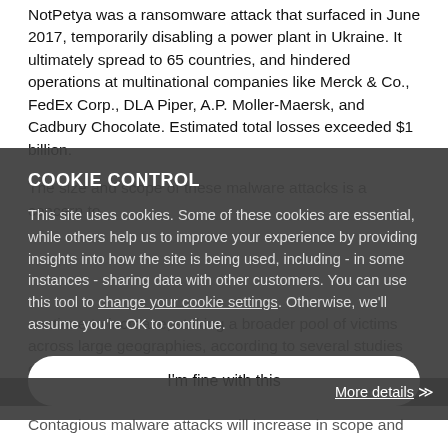NotPetya was a ransomware attack that surfaced in June 2017, temporarily disabling a power plant in Ukraine. It ultimately spread to 65 countries, and hindered operations at multinational companies like Merck & Co., FedEx Corp., DLA Piper, A.P. Moller-Maersk, and Cadbury Chocolate. Estimated total losses exceeded $1 billion.
The size and scope of these malware attacks is a concern to industry, governments, and private citizens, and there is no indication that these pandemics will come to an end any time soon.
Infostealer attacks have become more sophisticated. They are no longer targeted at a few high value individuals, but rather have become widespread, making detection and attribution much harder. They are difficult to readily detect.
COOKIE CONTROL
This site uses cookies. Some of these cookies are essential, while others help us to improve your experience by providing insights into how the site is being used, including - in some instances - sharing data with other customers. You can use this tool to change your cookie settings. Otherwise, we'll assume you're OK to continue.
I'm fine with this
continue to increase, striking a broader pool of victims across large geographies, according to several studies on global cybersecurity.
More details
Contagious malware attacks will increase in scope and